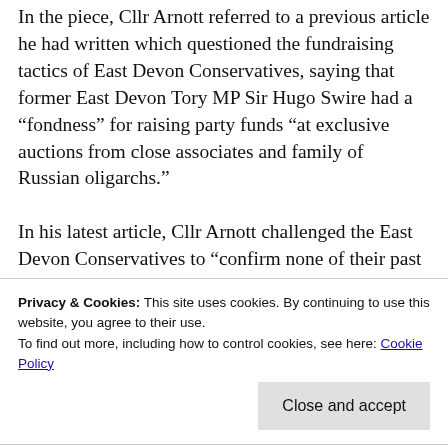In the piece, Cllr Arnott referred to a previous article he had written which questioned the fundraising tactics of East Devon Conservatives, saying that former East Devon Tory MP Sir Hugo Swire had a “fondness” for raising party funds “at exclusive auctions from close associates and family of Russian oligarchs.”
In his latest article, Cllr Arnott challenged the East Devon Conservatives to “confirm none of their past local campaigning has drawn on
Privacy & Cookies: This site uses cookies. By continuing to use this website, you agree to their use. To find out more, including how to control cookies, see here: Cookie Policy
the FIR that all Russian cash in their bulging